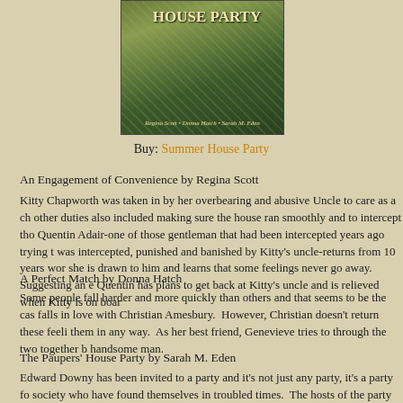[Figure (photo): Book cover for Summer House Party showing peacock feathers with title and author names]
Buy: Summer House Party
An Engagement of Convenience by Regina Scott
Kitty Chapworth was taken in by her overbearing and abusive Uncle to care as a ch... other duties also included making sure the house ran smoothly and to intercept tho... Quentin Adair-one of those gentleman that had been intercepted years ago trying t... was intercepted, punished and banished by Kitty's uncle-returns from 10 years wo... she is drawn to him and learns that some feelings never go away. Suggesting an e... Quentin has plans to get back at Kitty's uncle and is relieved when Kitty is on boar...
A Perfect Match by Donna Hatch
Some people fall harder and more quickly than others and that seems to be the cas... falls in love with Christian Amesbury. However, Christian doesn't return these feeli... them in any way. As her best friend, Genevieve tries to through the two together b... handsome man.
The Paupers' House Party by Sarah M. Eden
Edward Downy has been invited to a party and it's not just any party, it's a party fo... society who have found themselves in troubled times. The hosts of the party have...